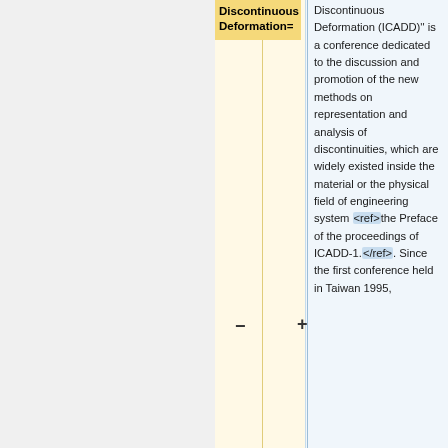Discontinuous Deformation=
Discontinuous Deformation (ICADD)'' is a conference dedicated to the discussion and promotion of the new methods on representation and analysis of discontinuities, which are widely existed inside the material or the physical field of engineering system <ref>the Preface of the proceedings of ICADD-1.</ref>. Since the first conference held in Taiwan 1995,